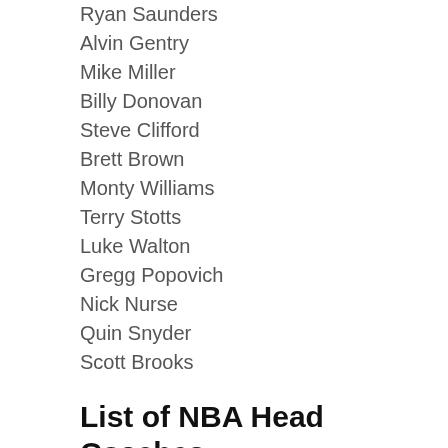Ryan Saunders
Alvin Gentry
Mike Miller
Billy Donovan
Steve Clifford
Brett Brown
Monty Williams
Terry Stotts
Luke Walton
Gregg Popovich
Nick Nurse
Quin Snyder
Scott Brooks
List of NBA Head Coaches With Team Name